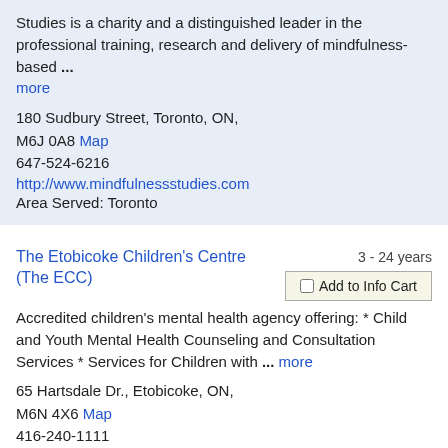Studies is a charity and a distinguished leader in the professional training, research and delivery of mindfulness-based ... more
180 Sudbury Street, Toronto, ON, M6J 0A8 Map
647-524-6216
http://www.mindfulnessstudies.com
Area Served: Toronto
The Etobicoke Children's Centre (The ECC)
3 - 24 years
Add to Info Cart
Accredited children's mental health agency offering: * Child and Youth Mental Health Counseling and Consultation Services * Services for Children with ... more
65 Hartsdale Dr., Etobicoke, ON, M6N 4X6 Map
416-240-1111